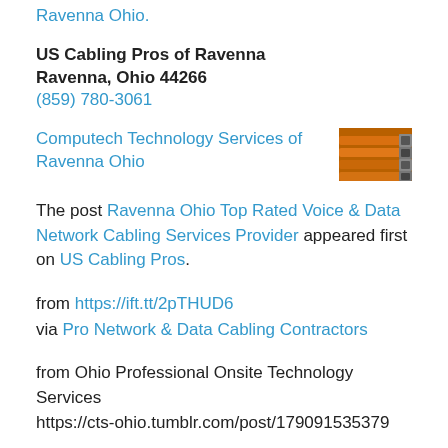Ravenna Ohio.
US Cabling Pros of Ravenna
Ravenna, Ohio 44266
(859) 780-3061
[Figure (photo): Photo of orange network/data cabling connectors]
Computech Technology Services of Ravenna Ohio
The post Ravenna Ohio Top Rated Voice & Data Network Cabling Services Provider appeared first on US Cabling Pros.
from https://ift.tt/2pTHUD6
via Pro Network & Data Cabling Contractors
from Ohio Professional Onsite Technology Services
https://cts-ohio.tumblr.com/post/179091535379